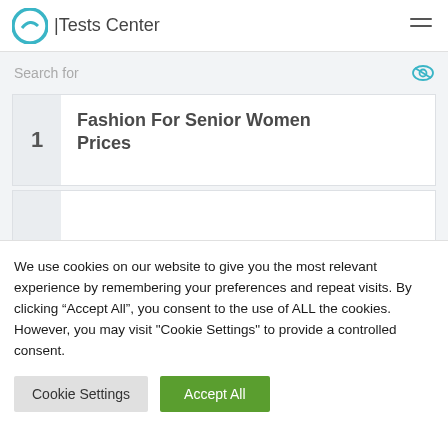Tests Center
Search for
1 Fashion For Senior Women Prices
We use cookies on our website to give you the most relevant experience by remembering your preferences and repeat visits. By clicking “Accept All”, you consent to the use of ALL the cookies. However, you may visit "Cookie Settings" to provide a controlled consent.
Cookie Settings | Accept All